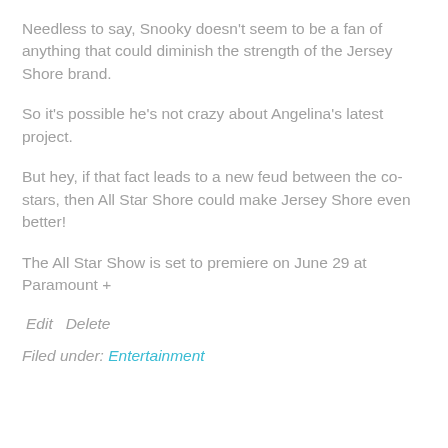Needless to say, Snooky doesn't seem to be a fan of anything that could diminish the strength of the Jersey Shore brand.
So it's possible he's not crazy about Angelina's latest project.
But hey, if that fact leads to a new feud between the co-stars, then All Star Shore could make Jersey Shore even better!
The All Star Show is set to premiere on June 29 at Paramount +
Edit   Delete
Filed under: Entertainment